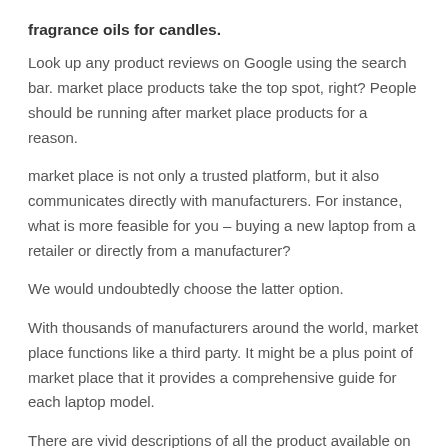fragrance oils for candles.
Look up any product reviews on Google using the search bar. market place products take the top spot, right? People should be running after market place products for a reason.
market place is not only a trusted platform, but it also communicates directly with manufacturers. For instance, what is more feasible for you – buying a new laptop from a retailer or directly from a manufacturer?
We would undoubtedly choose the latter option.
With thousands of manufacturers around the world, market place functions like a third party. It might be a plus point of market place that it provides a comprehensive guide for each laptop model.
There are vivid descriptions of all the product available on